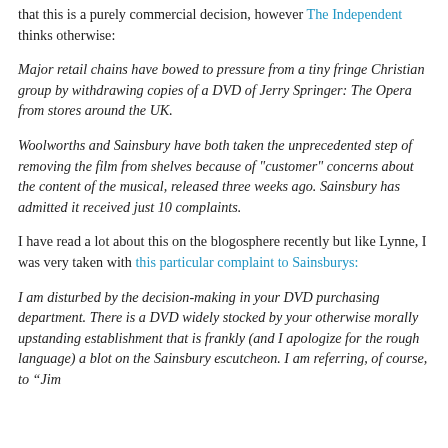that this is a purely commercial decision, however The Independent thinks otherwise:
Major retail chains have bowed to pressure from a tiny fringe Christian group by withdrawing copies of a DVD of Jerry Springer: The Opera from stores around the UK.
Woolworths and Sainsbury have both taken the unprecedented step of removing the film from shelves because of "customer" concerns about the content of the musical, released three weeks ago. Sainsbury has admitted it received just 10 complaints.
I have read a lot about this on the blogosphere recently but like Lynne, I was very taken with this particular complaint to Sainsburys:
I am disturbed by the decision-making in your DVD purchasing department. There is a DVD widely stocked by your otherwise morally upstanding establishment that is frankly (and I apologize for the rough language) a blot on the Sainsbury escutcheon. I am referring, of course, to “Jim